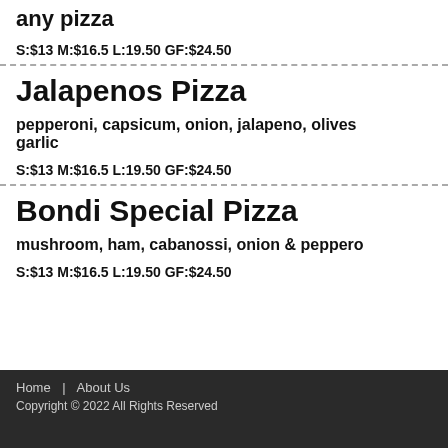any pizza
S:$13 M:$16.5 L:19.50 GF:$24.50
Jalapenos Pizza
pepperoni, capsicum, onion, jalapeno, olives garlic
S:$13 M:$16.5 L:19.50 GF:$24.50
Bondi Special Pizza
mushroom, ham, cabanossi, onion & peppero
S:$13 M:$16.5 L:19.50 GF:$24.50
Home | About Us
Copyright © 2022 All Rights Reserved